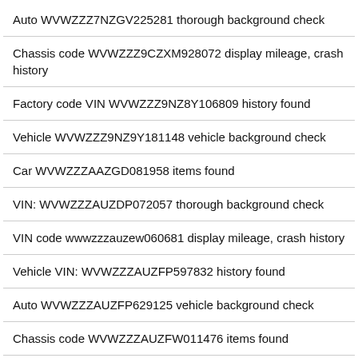Auto WVWZZZ7NZGV225281 thorough background check
Chassis code WVWZZZ9CZXM928072 display mileage, crash history
Factory code VIN WVWZZZ9NZ8Y106809 history found
Vehicle WVWZZZ9NZ9Y181148 vehicle background check
Car WVWZZZAAZGD081958 items found
VIN: WVWZZZAUZDP072057 thorough background check
VIN code wwwzzzauzew060681 display mileage, crash history
Vehicle VIN: WVWZZZAUZFP597832 history found
Auto WVWZZZAUZFP629125 vehicle background check
Chassis code WVWZZZAUZFW011476 items found
Factory code VIN WVWZZZAUZFW063672 thorough background check
Vehicle WVWZZZAUZFW117483 display mileage, crash history